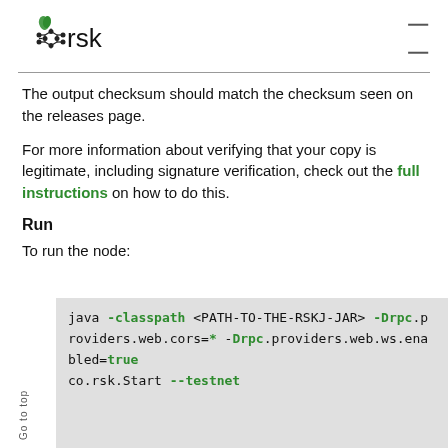RSK logo and navigation
The output checksum should match the checksum seen on the releases page.
For more information about verifying that your copy is legitimate, including signature verification, check out the full instructions on how to do this.
Run
To run the node:
java -classpath <PATH-TO-THE-RSKJ-JAR> -Drpc.providers.web.cors=* -Drpc.providers.web.ws.enabled=true co.rsk.Start --testnet